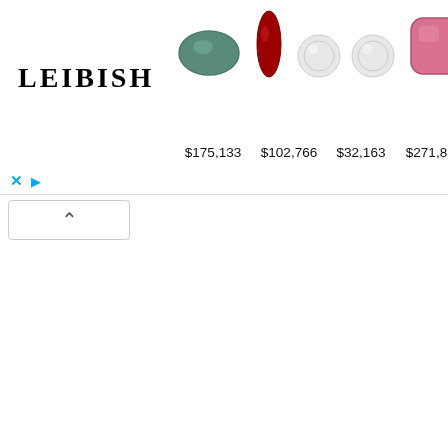[Figure (photo): Leibish jewelry advertisement banner showing 5 gemstones (blue-green oval, red marquise ruby, two white diamond studs, pink cushion tourmaline, red heart ruby) with prices $175,133 $102,766 $32,163 $271,819 $263,974 and Leibish logo]
option #1 (Mounting Posts) – Attach your pr